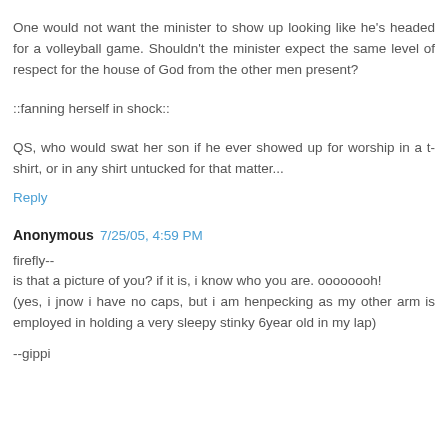One would not want the minister to show up looking like he's headed for a volleyball game. Shouldn't the minister expect the same level of respect for the house of God from the other men present?
::fanning herself in shock::
QS, who would swat her son if he ever showed up for worship in a t-shirt, or in any shirt untucked for that matter...
Reply
Anonymous 7/25/05, 4:59 PM
firefly--
is that a picture of you? if it is, i know who you are. oooooooh!
(yes, i jnow i have no caps, but i am henpecking as my other arm is employed in holding a very sleepy stinky 6year old in my lap)
--gippi